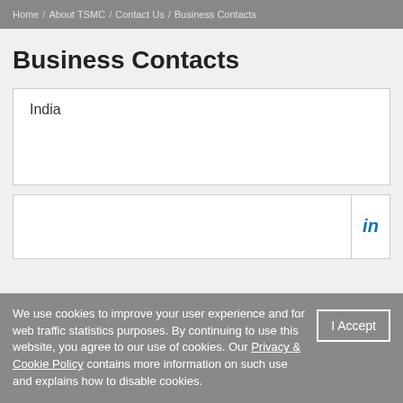Home / About TSMC / Contact Us / Business Contacts
Business Contacts
India
We use cookies to improve your user experience and for web traffic statistics purposes. By continuing to use this website, you agree to our use of cookies. Our Privacy & Cookie Policy contains more information on such use and explains how to disable cookies.